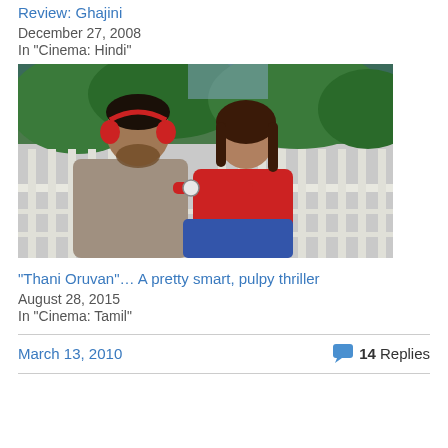Review: Ghajini
December 27, 2008
In "Cinema: Hindi"
[Figure (photo): A man with red headphones and a woman in red top leaning on a railing]
"Thani Oruvan"… A pretty smart, pulpy thriller
August 28, 2015
In "Cinema: Tamil"
March 13, 2010
14 Replies